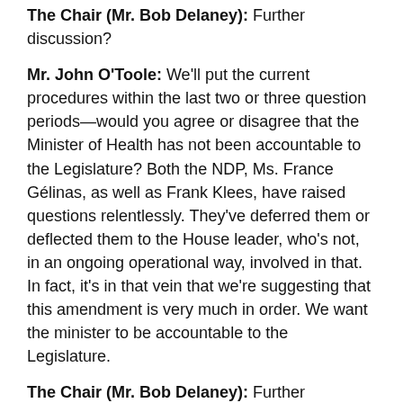The Chair (Mr. Bob Delaney): Further discussion?
Mr. John O'Toole: We'll put the current procedures within the last two or three question periods—would you agree or disagree that the Minister of Health has not been accountable to the Legislature? Both the NDP, Ms. France Gélinas, as well as Frank Klees, have raised questions relentlessly. They've deferred them or deflected them to the House leader, who's not, in an ongoing operational way, involved in that. In fact, it's in that vein that we're suggesting that this amendment is very much in order. We want the minister to be accountable to the Legislature.
The Chair (Mr. Bob Delaney): Further discussion? Shall the amendment carry? All those in favour? Opposed? The amendment carries.
Shall schedule 16, section 6, as amended, carry? All those in favour? All those opposed? It carries.
This is the second of our dependencies, so we'll consider